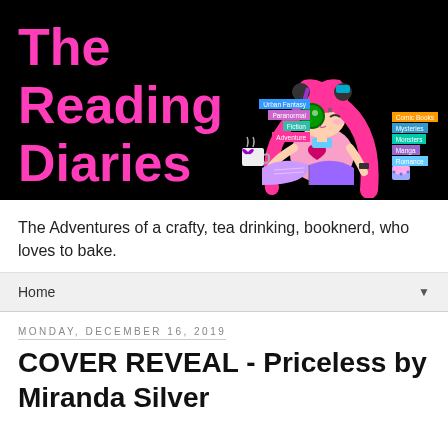[Figure (illustration): The Reading Diaries blog banner: black background with large pink text 'The Reading Diaries' on the left, and an anime-style cartoon girl with pink hair reading a book on the right, surrounded by colorful genre labels (Urban Fantasy, Paranormal, Fiction, Adventure, Comic Books, Mysteries, Monsters, Manga, Romance)]
The Adventures of a crafty, tea drinking, booknerd, who loves to bake.
Home
Monday, December 16, 2019
COVER REVEAL - Priceless by Miranda Silver